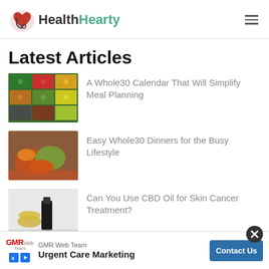HealthHearty
Latest Articles
A Whole30 Calendar That Will Simplify Meal Planning
Easy Whole30 Dinners for the Busy Lifestyle
Can You Use CBD Oil for Skin Cancer Treatment?
Paleo Recipes That Make Following the Plan
GMR Web Team — Urgent Care Marketing — Contact Us